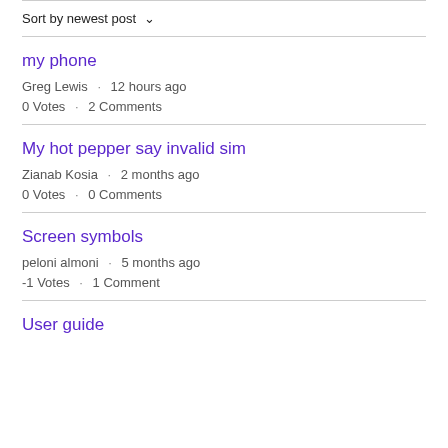Sort by newest post ∨
my phone · Greg Lewis · 12 hours ago · 0 Votes · 2 Comments
My hot pepper say invalid sim · Zianab Kosia · 2 months ago · 0 Votes · 0 Comments
Screen symbols · peloni almoni · 5 months ago · -1 Votes · 1 Comment
User guide